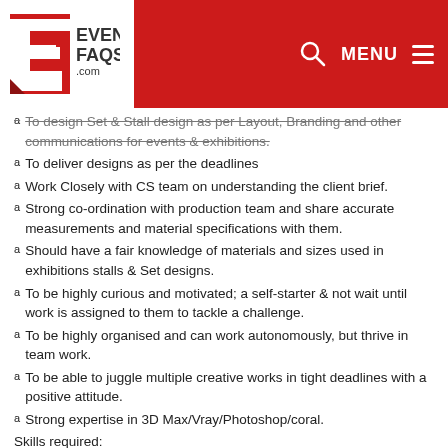EventFaqs.com — MENU
To design Set & Stall design as per Layout, Branding and other communications for events & exhibitions.
To deliver designs as per the deadlines
Work Closely with CS team on understanding the client brief.
Strong co-ordination with production team and share accurate measurements and material specifications with them.
Should have a fair knowledge of materials and sizes used in exhibitions stalls & Set designs.
To be highly curious and motivated; a self-starter & not wait until work is assigned to them to tackle a challenge.
To be highly organised and can work autonomously, but thrive in team work.
To be able to juggle multiple creative works in tight deadlines with a positive attitude.
Strong expertise in 3D Max/Vray/Photoshop/coral.
Skills required:
Excellent coordination skills
Technical & Industry specific knowledge
Leadership qualities and team work